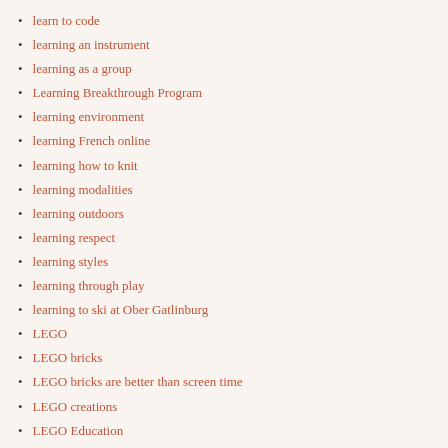learn to code
learning an instrument
learning as a group
Learning Breakthrough Program
learning environment
learning French online
learning how to knit
learning modalities
learning outdoors
learning respect
learning styles
learning through play
learning to ski at Ober Gatlinburg
LEGO
LEGO bricks
LEGO bricks are better than screen time
LEGO creations
LEGO Education